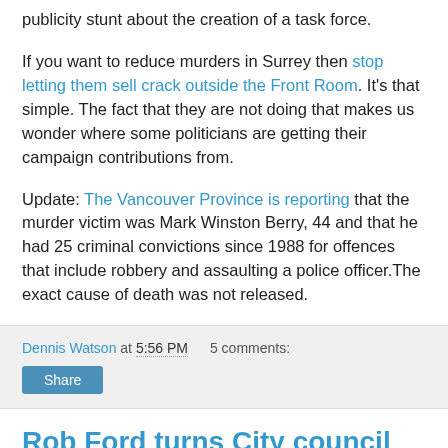publicity stunt about the creation of a task force.
If you want to reduce murders in Surrey then stop letting them sell crack outside the Front Room. It's that simple. The fact that they are not doing that makes us wonder where some politicians are getting their campaign contributions from.
Update: The Vancouver Province is reporting that the murder victim was Mark Winston Berry, 44 and that he had 25 criminal convictions since 1988 for offences that include robbery and assaulting a police officer.The exact cause of death was not released.
Dennis Watson at 5:56 PM   5 comments:
Rob Ford turns City council into a WWF circus